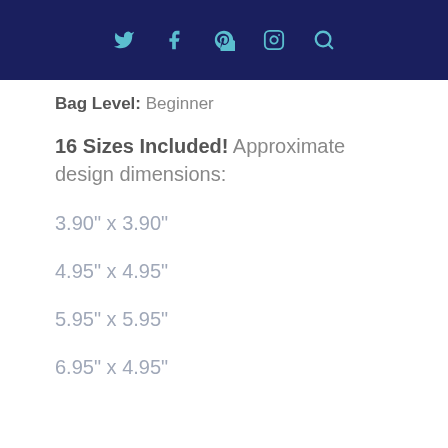Twitter Facebook Pinterest Instagram Search
Bag Level: Beginner
16 Sizes Included! Approximate design dimensions:
3.90" x 3.90"
4.95" x 4.95"
5.95" x 5.95"
6.95" x 4.95"